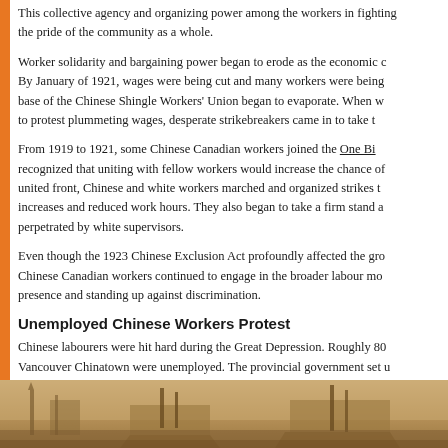This collective agency and organizing power among the workers in fighting the pride of the community as a whole.
Worker solidarity and bargaining power began to erode as the economic c By January of 1921, wages were being cut and many workers were being base of the Chinese Shingle Workers' Union began to evaporate. When w to protest plummeting wages, desperate strikebreakers came in to take t
From 1919 to 1921, some Chinese Canadian workers joined the One Bi recognized that uniting with fellow workers would increase the chance of united front, Chinese and white workers marched and organized strikes t increases and reduced work hours. They also began to take a firm stand a perpetrated by white supervisors.
Even though the 1923 Chinese Exclusion Act profoundly affected the gro Chinese Canadian workers continued to engage in the broader labour mo presence and standing up against discrimination.
Unemployed Chinese Workers Protest
Chinese labourers were hit hard during the Great Depression. Roughly 80 Vancouver Chinatown were unemployed. The provincial government set u Mission to provide shelter and two daily meals for unemployed Chinese C this relief program, treatment was differential. Unemployed Chinese work eight cents per meal, while white workers were allotted 15 to 25 cents p three years, at least 145 unemployed Chinese workers in Vancouver died
[Figure (photo): Sepia-toned historical photograph showing ships or boats with masts in a harbour, likely from the early 20th century.]